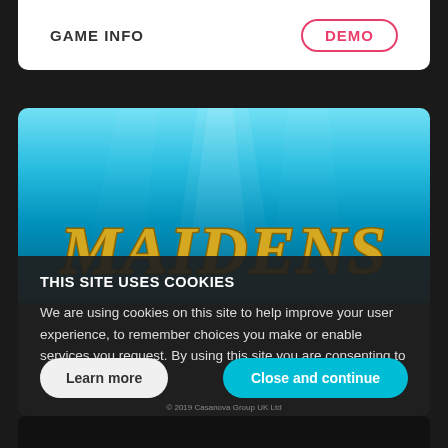GAME INFO
DEMO
[Figure (screenshot): Underwater themed slot game banner with blue ocean background, light rays, and golden stylized text reading 'MAIDENS']
THIS SITE USES COOKIES
We are using cookies on this site to help improve your user experience, to remember choices you make or enable services you request. By using this site you are consenting to this use of cookies.
Learn more
Close and continue